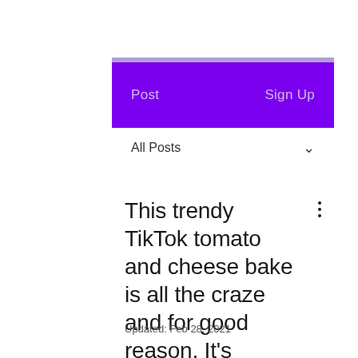Post    Sign Up
All Posts
This trendy TikTok tomato and cheese bake is all the craze and for good reason. It's delish.
Updated: Feb 28, 2021